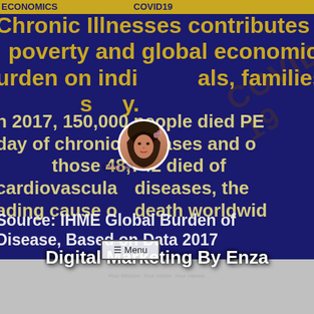ECONOMICS COVID19
Chronic Illnesses contributes to poverty and global economic burden on individuals, families and society.
In 2017, 150,000 people died PER DAY of chronic diseases and of those 48,742 died of cardiovascular diseases, the leading cause of death worldwide
[Figure (photo): Profile photo of a woman in hijab with a 'Thank you' label overlay]
Digital Marketing By Enza
Your Mission. Your Vision. Your Values.
≡ Menu
Source: IHME Global Burden of Disease, Based on Data 2017